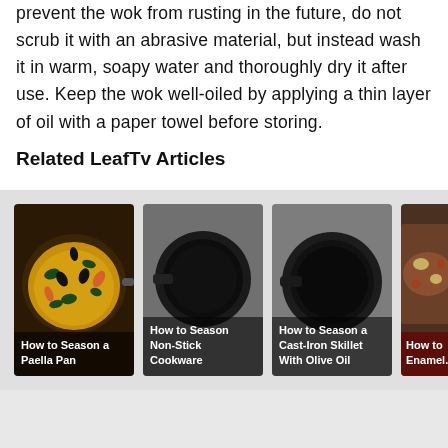prevent the wok from rusting in the future, do not scrub it with an abrasive material, but instead wash it in warm, soapy water and thoroughly dry it after use. Keep the wok well-oiled by applying a thin layer of oil with a paper towel before storing.
Related LeafTv Articles
[Figure (photo): Thumbnail image of a paella pan with seafood and yellow rice with caption 'How to Season a Paella Pan']
[Figure (photo): Thumbnail image of a black cast iron skillet on gray background with caption 'How to Season Non-Stick Cookware']
[Figure (photo): Thumbnail image of a cast iron skillet on gray background with caption 'How to Season a Cast-Iron Skillet With Olive Oil']
[Figure (photo): Partial thumbnail image of pasta or stew dish with caption 'How to Enamell...' (cut off)]